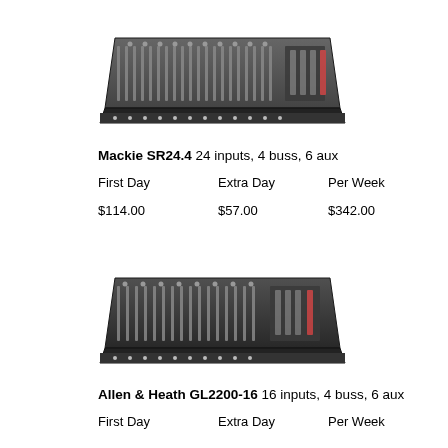[Figure (photo): Photo of Mackie SR24.4 mixing console, dark gray/black, angled top view]
Mackie SR24.4  24 inputs, 4 buss, 6 aux
First Day    Extra Day    Per Week
$114.00        $57.00        $342.00
[Figure (photo): Photo of Allen & Heath GL2200-16 mixing console, dark gray/black, angled top view]
Allen & Heath GL2200-16  16 inputs, 4 buss, 6 aux
First Day    Extra Day    Per Week